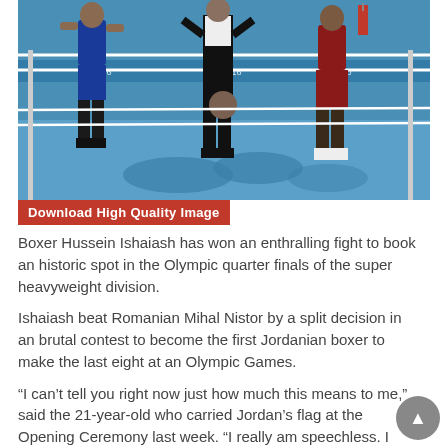[Figure (photo): Boxing match at the 2016 Rio Olympics. A referee in black stands in center of the ring between two boxers — one in blue shorts on the left and one in red shorts on the right. The Rio 2016 logo is visible on the blue ring floor.]
Download High Quality Image
Boxer Hussein Ishaiash has won an enthralling fight to book an historic spot in the Olympic quarter finals of the super heavyweight division.
Ishaiash beat Romanian Mihal Nistor by a split decision in an brutal contest to become the first Jordanian boxer to make the last eight at an Olympic Games.
“I can’t tell you right now just how much this means to me,” said the 21-year-old who carried Jordan’s flag at the Opening Ceremony last week. “I really am speechless. I